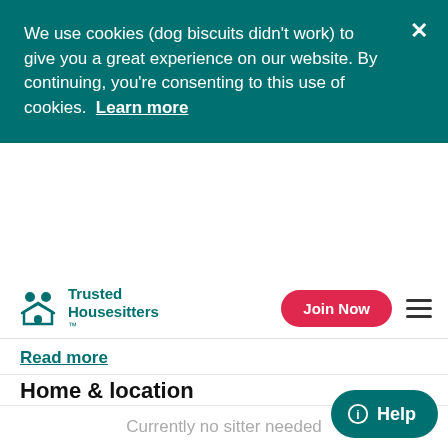We use cookies (dog biscuits didn't work) to give you a great experience on our website. By continuing, you're consenting to this use of cookies. Learn more
Trusted Housesitters™
Read more
Home & location
We are on the Montgo mountain so fantastic views. The villa is self contained with a pool and has a fully equipped kitchen with a large open plan living room / dining area. Sitters have their own
Currently no sitter needed